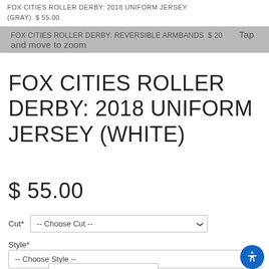FOX CITIES ROLLER DERBY: 2018 UNIFORM JERSEY (GRAY)  $ 55.00
FOX CITIES ROLLER DERBY: REVERSIBLE ARMBANDS  $ 20  Tap and move to zoom
FOX CITIES ROLLER DERBY: 2018 UNIFORM JERSEY (WHITE)
$ 55.00
Cut*  -- Choose Cut --
Style*  -- Choose Style --
Neckline*  -- Choose Neckline --